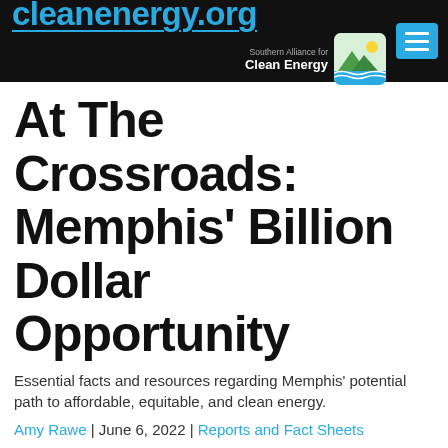cleanenergy.org — Southern Alliance for Clean Energy
At The Crossroads: Memphis' Billion Dollar Opportunity
Essential facts and resources regarding Memphis' potential path to affordable, equitable, and clean energy.
Amy Rawe | June 6, 2022 | Reports and Fact Sheets
Memphis is at a historic crossroads as MLGW and City Council will make preliminary decisions in the coming weeks about whether or not to continue considering bids from any